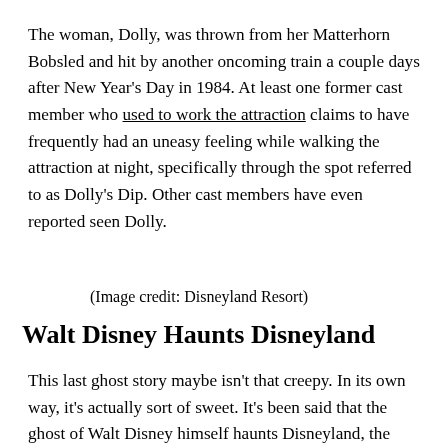The woman, Dolly, was thrown from her Matterhorn Bobsled and hit by another oncoming train a couple days after New Year's Day in 1984. At least one former cast member who used to work the attraction claims to have frequently had an uneasy feeling while walking the attraction at night, specifically through the spot referred to as Dolly's Dip. Other cast members have even reported seen Dolly.
(Image credit: Disneyland Resort)
Walt Disney Haunts Disneyland
This last ghost story maybe isn't that creepy. In its own way, it's actually sort of sweet. It's been said that the ghost of Walt Disney himself haunts Disneyland, the only park he was directly involved in building. His